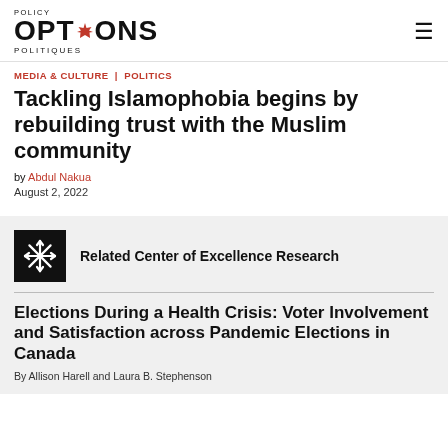Policy OPTIONS POLITIQUES
MEDIA & CULTURE | POLITICS
Tackling Islamophobia begins by rebuilding trust with the Muslim community
by Abdul Nakua
August 2, 2022
Related Center of Excellence Research
Elections During a Health Crisis: Voter Involvement and Satisfaction across Pandemic Elections in Canada
By Allison Harell and Laura B. Stephenson